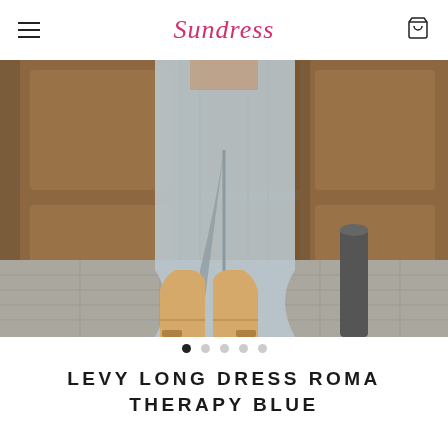Sundress
[Figure (photo): Fashion photo showing lower half of a person wearing a light blue/grey linen midi dress with a front slit, paired with tan knee-high boots, standing in front of ornate wooden doors on a stone-paved street.]
LEVY LONG DRESS ROMA THERAPY BLUE